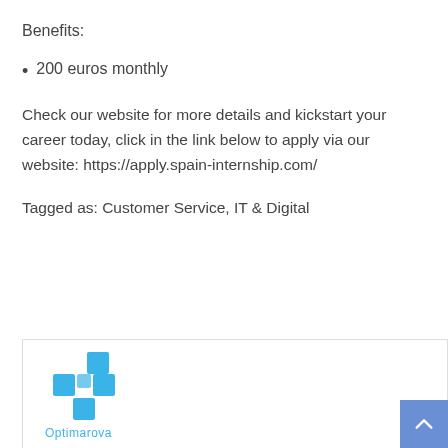Benefits:
200 euros monthly
Check our website for more details and kickstart your career today, click in the link below to apply via our website: https://apply.spain-internship.com/
Tagged as: Customer Service, IT & Digital
[Figure (logo): Optimarova company logo — blue cross/plus shape made of squares, with the text 'Optimarova' below in blue]